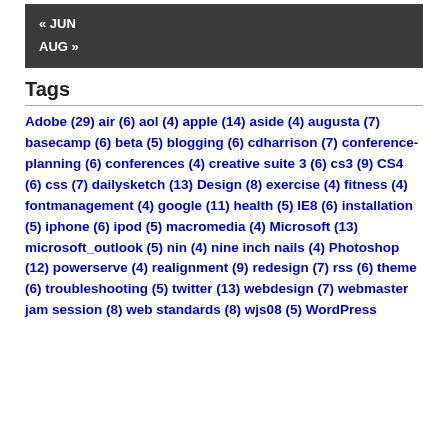[Figure (other): Navigation box with dark background showing links '« JUN' and 'AUG »']
Tags
Adobe (29) air (6) aol (4) apple (14) aside (4) augusta (7) basecamp (6) beta (5) blogging (6) cdharrison (7) conference-planning (6) conferences (4) creative suite 3 (6) cs3 (9) CS4 (6) css (7) dailysketch (13) Design (8) exercise (4) fitness (4) fontmanagement (4) google (11) health (5) IE8 (6) installation (5) iphone (6) ipod (5) macromedia (4) Microsoft (13) microsoft_outlook (5) nin (4) nine inch nails (4) Photoshop (12) powerserve (4) realignment (9) redesign (7) rss (6) theme (6) troubleshooting (5) twitter (13) webdesign (7) webmaster jam session (8) web standards (8) wjs08 (5) WordPress (29)